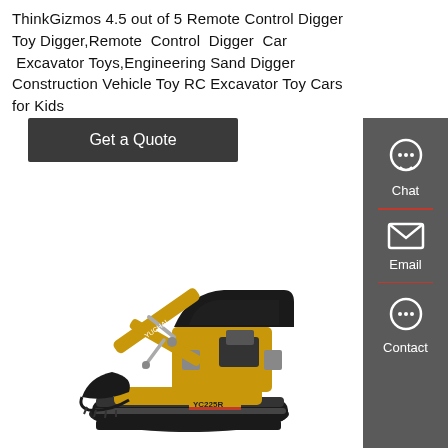ThinkGizmos 4.5 out of 5 Remote Control Digger Toy Digger,Remote Control Digger Car Excavator Toys,Engineering Sand Digger Construction Vehicle Toy RC Excavator Toy Cars for Kids
Get a Quote
[Figure (photo): Sidebar with Chat, Email, and Contact icons on dark grey background with red dividers]
[Figure (photo): Yellow mini excavator (YC225R) with black cab, extended arm and bucket, on white background]